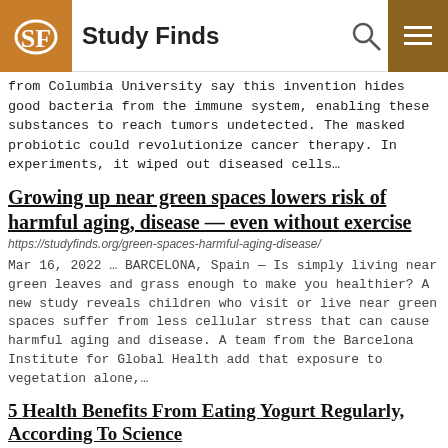Study Finds
from Columbia University say this invention hides good bacteria from the immune system, enabling these substances to reach tumors undetected. The masked probiotic could revolutionize cancer therapy. In experiments, it wiped out diseased cells…
Growing up near green spaces lowers risk of harmful aging, disease — even without exercise
https://studyfinds.org/green-spaces-harmful-aging-disease/
Mar 16, 2022 … BARCELONA, Spain — Is simply living near green leaves and grass enough to make you healthier? A new study reveals children who visit or live near green spaces suffer from less cellular stress that can cause harmful aging and disease. A team from the Barcelona Institute for Global Health add that exposure to vegetation alone,…
5 Health Benefits From Eating Yogurt Regularly, According To Science
https://studyfinds.org/health-benefits-yogurt/
Mar 15, 2022 … Yogurt can make for a delicious breakfast or lunch, and a healthy one at that. The creamy dairy product is a good source of protein, calcium, vitamins, and probiotics. Yogurt is a favorite among nutritionists and health…